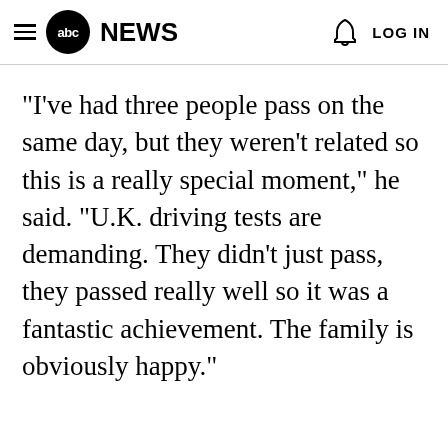abc NEWS  LOG IN
"I've had three people pass on the same day, but they weren't related so this is a really special moment," he said. "U.K. driving tests are demanding. They didn't just pass, they passed really well so it was a fantastic achievement. The family is obviously happy."